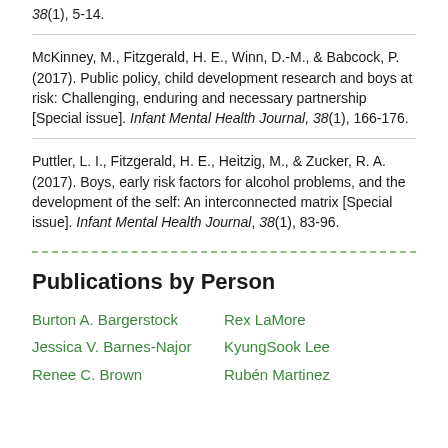38(1), 5-14.
McKinney, M., Fitzgerald, H. E., Winn, D.-M., & Babcock, P. (2017). Public policy, child development research and boys at risk: Challenging, enduring and necessary partnership [Special issue]. Infant Mental Health Journal, 38(1), 166-176.
Puttler, L. I., Fitzgerald, H. E., Heitzig, M., & Zucker, R. A. (2017). Boys, early risk factors for alcohol problems, and the development of the self: An interconnected matrix [Special issue]. Infant Mental Health Journal, 38(1), 83-96.
Publications by Person
Burton A. Bargerstock
Rex LaMore
Jessica V. Barnes-Najor
KyungSook Lee
Renee C. Brown
Rubén Martinez